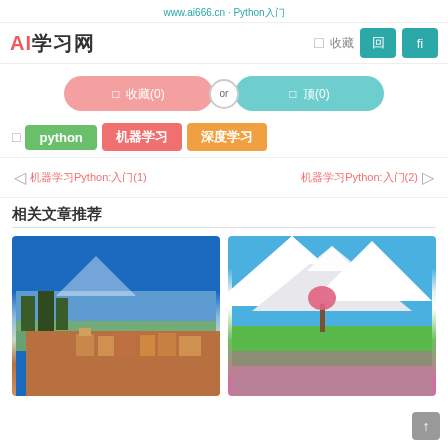www.ai666.cn · Python
AI学习网
[Figure (screenshot): Toggle UI with two options side by side joined by 'or' circle]
标签: python 机器学习 深度学习
← 机器学习Python:入门(1)    机器学习Python:入门(2) →
相关文章推荐
[Figure (photo): Two landscape photos side by side: snowy alpine village on left, spring mountain meadow with pink tree on right]